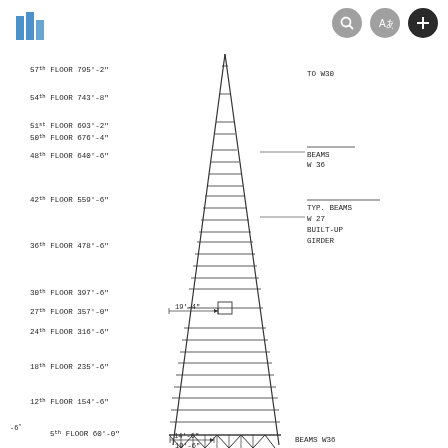[Figure (engineering-diagram): Structural elevation diagram of a tall building/tower showing floor levels and beam designations. The tower is depicted as a tapering triangular/spire structure with horizontal floor lines. Floor levels labeled on the left: 57th FLOOR 795'-2", 54th FLOOR 743'-8", 51st FLOOR 693'-2", 50th FLOOR 676'-4", 48th FLOOR 640'-6", 42nd FLOOR 559'-6", 36th FLOOR 478'-6", 30th FLOOR 397'-6", 27th FLOOR 357'-0", 24th FLOOR 316'-6", 18th FLOOR 235'-6", 12th FLOOR 154'-6", 5th FLOOR 60'-0". Annotations: TO W30 (top right), BEAMS W36, TYP. BEAMS W27, BUILT-UP GIRDER, BEAMS W36 (bottom right). Dimension callouts: 19'-4" and 14'-6" and 19'-6". Also -6" note at lower left.]